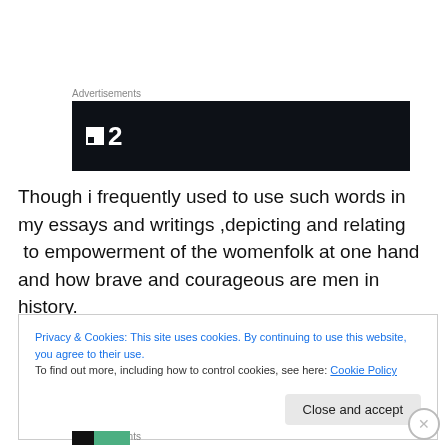Advertisements
[Figure (logo): Dark banner with white logo showing a small square icon and the number 2]
Though i frequently used to use such words in my essays and writings ,depicting and relating  to empowerment of the womenfolk at one hand and how brave and courageous are men in history.
Privacy & Cookies: This site uses cookies. By continuing to use this website, you agree to their use.
To find out more, including how to control cookies, see here: Cookie Policy
Close and accept
Advertisements